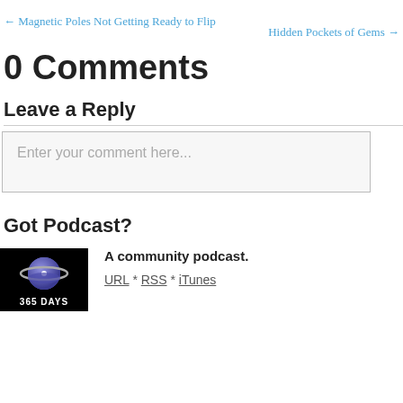← Magnetic Poles Not Getting Ready to Flip
Hidden Pockets of Gems →
0 Comments
Leave a Reply
Enter your comment here...
Got Podcast?
[Figure (logo): 365 Days of Astronomy podcast logo — planet with ring on black background, text '365 DAYS']
A community podcast.
URL * RSS * iTunes